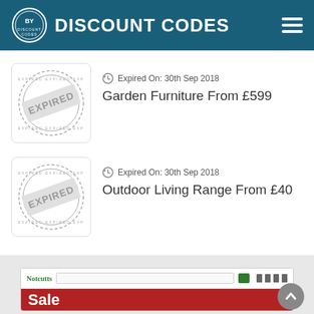BY DISCOUNT CODES
[Figure (illustration): Expired stamp badge for Garden Furniture deal]
Expired On: 30th Sep 2018
Garden Furniture From £599
[Figure (illustration): Expired stamp badge for Outdoor Living Range deal]
Expired On: 30th Sep 2018
Outdoor Living Range From £40
[Figure (screenshot): Screenshot of Notcutts website showing Sale banner]